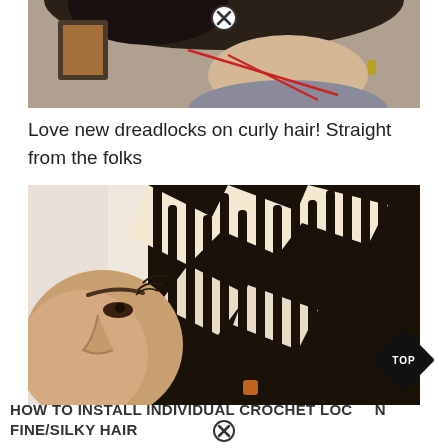[Figure (photo): Close-up photo of a person's neck area showing dreadlocks being installed with a red string/thread visible]
Love new dreadlocks on curly hair! Straight from the folks
[Figure (photo): Side profile photo of a woman with individual locs/dreadlocks installed showing neat parting sections on the scalp]
HOW TO INSTALL INDIVIDUAL CROCHET LOCS ON FINE/SILKY HAIR